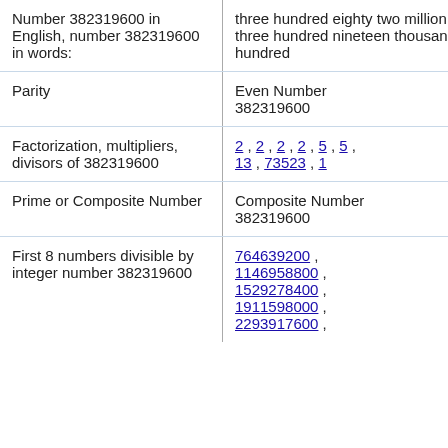| Property | Value |
| --- | --- |
| Number 382319600 in English, number 382319600 in words: | three hundred eighty two million three hundred nineteen thousand six hundred |
| Parity | Even Number 382319600 |
| Factorization, multipliers, divisors of 382319600 | 2 , 2 , 2 , 2 , 5 , 5 , 13 , 73523 , 1 |
| Prime or Composite Number | Composite Number 382319600 |
| First 8 numbers divisible by integer number 382319600 | 764639200 , 1146958800 , 1529278400 , 1911598000 , 2293917600 , |